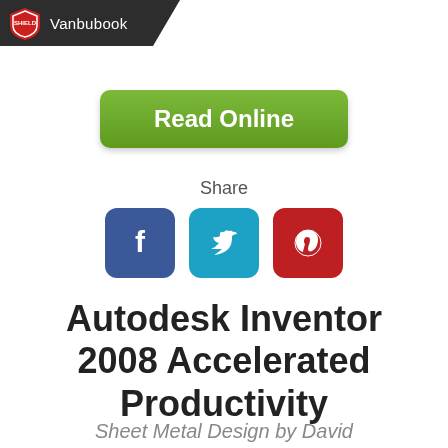Vanbubook
[Figure (other): Green Read Online button]
Share
[Figure (other): Social media icons: Facebook (blue), Twitter (cyan), Pinterest (red)]
Autodesk Inventor 2008 Accelerated Productivity
Sheet Metal Design by David